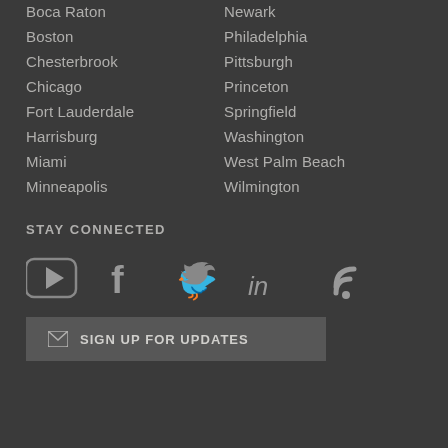Boca Raton
Newark
Boston
Philadelphia
Chesterbrook
Pittsburgh
Chicago
Princeton
Fort Lauderdale
Springfield
Harrisburg
Washington
Miami
West Palm Beach
Minneapolis
Wilmington
STAY CONNECTED
[Figure (infographic): Social media icons: YouTube, Facebook, Twitter, LinkedIn, RSS]
SIGN UP FOR UPDATES